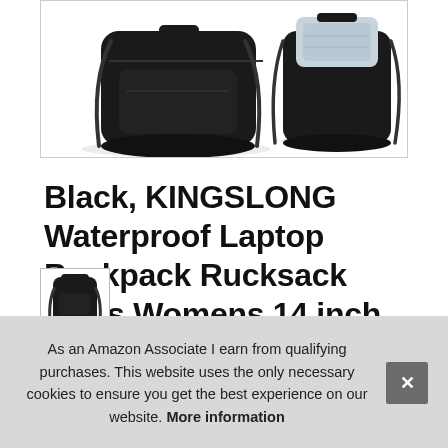[Figure (photo): Product image showing a black KINGSLONG laptop backpack from multiple angles — front/side view and rear/open view showing gray interior lining, set against a white background inside a bordered box.]
Black, KINGSLONG Waterproof Laptop Backpack Rucksack Mens Womens 14 inch School Work Bag Backpacks Lightweight PU Leather for Boys and Girls
[Figure (photo): Small thumbnail image at bottom left showing the black backpack.]
As an Amazon Associate I earn from qualifying purchases. This website uses the only necessary cookies to ensure you get the best experience on our website. More information